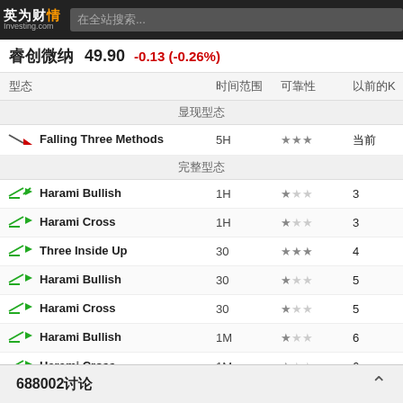英为财情 Investing.com — 在全站搜索...
睿创微纳 49.90 -0.13 (-0.26%)
| 型态 | 时间范围 | 可靠性 | 以前的K |
| --- | --- | --- | --- |
| 显现型态 |  |  |  |
| Falling Three Methods | 5H | ★★★ | 当前 |
| 完整型态 |  |  |  |
| Harami Bullish | 1H | ★☆☆ | 3 |
| Harami Cross | 1H | ★☆☆ | 3 |
| Three Inside Up | 30 | ★★★ | 4 |
| Harami Bullish | 30 | ★☆☆ | 5 |
| Harami Cross | 30 | ★☆☆ | 5 |
| Harami Bullish | 1M | ★☆☆ | 6 |
| Harami Cross | 1M | ★☆☆ | 6 |
| Engulfing Bearish | 5H | ★★☆ | 6 |
| Harami Cross Bearish | 5H | ★☆☆ | 7 |
| Three Inside Up | 15 | ★★★ | 7 |
| Belt Hold... | ? | ★★★ | ? |
688002讨论